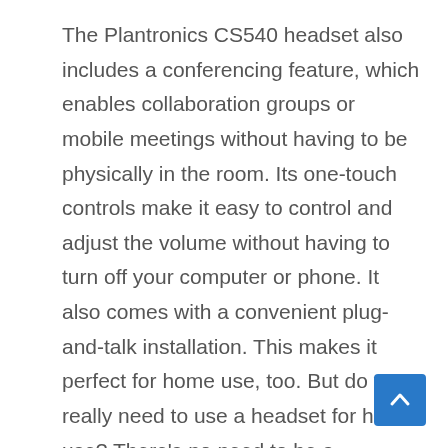The Plantronics CS540 headset also includes a conferencing feature, which enables collaboration groups or mobile meetings without having to be physically in the room. Its one-touch controls make it easy to control and adjust the volume without having to turn off your computer or phone. It also comes with a convenient plug-and-talk installation. This makes it perfect for home use, too. But do you really need to use a headset for home use? There's no need to be a technology guru to use the Plantronics CS540 headset!
[Figure (other): Blue back-to-top button with an upward chevron arrow icon in the bottom-right corner of the page.]